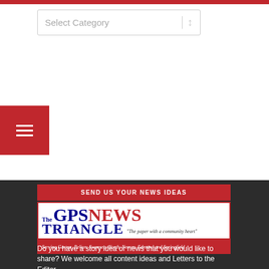[Figure (screenshot): Red top navigation bar]
[Figure (screenshot): Select Category dropdown control]
[Figure (screenshot): Red hamburger menu button with three white lines]
SEND US YOUR NEWS IDEAS
[Figure (logo): The GPS Triangle News logo - 'The paper with a community heart' - Serving Gaston, Pelion, Swansea, North, Neeses, Edmund and Springfield]
Do you have a story idea or news that you would like to share? We welcome all content ideas and Letters to the Editor.